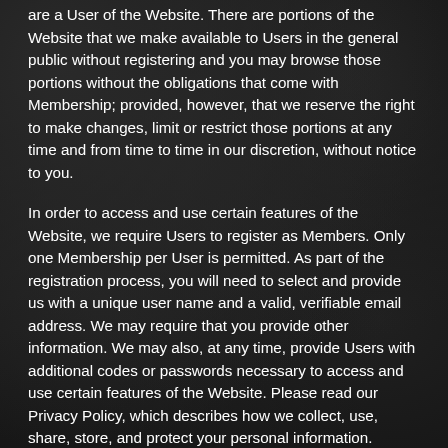are a User of the Website. There are portions of the Website that we make available to Users in the general public without registering and you may browse those portions without the obligations that come with Membership; provided, however, that we reserve the right to make changes, limit or restrict those portions at any time and from time to time in our discretion, without notice to you.
In order to access and use certain features of the Website, we require Users to register as Members. Only one Membership per User is permitted. As part of the registration process, you will need to select and provide us with a unique user name and a valid, verifiable email address. We may require that you provide other information. We may also, at any time, provide Users with additional codes or passwords necessary to access and use certain features of the Website. Please read our Privacy Policy, which describes how we collect, use, share, store, and protect your personal information.
You may, at your option, upload an avatar to be associated with your Membership. The avatar may be your true